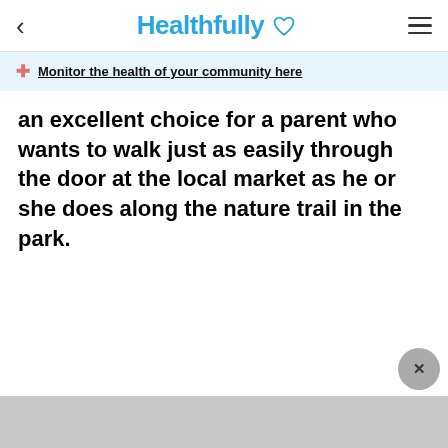Healthfully
Monitor the health of your community here
an excellent choice for a parent who wants to walk just as easily through the door at the local market as he or she does along the nature trail in the park.